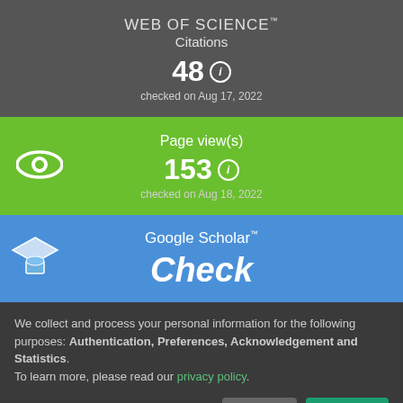[Figure (screenshot): Web of Science citations badge showing 48 citations, checked on Aug 17, 2022]
[Figure (screenshot): Page views badge showing 153 page views, checked on Aug 18, 2022]
[Figure (screenshot): Google Scholar badge with 'Check' text and graduation cap icon]
We collect and process your personal information for the following purposes: Authentication, Preferences, Acknowledgement and Statistics. To learn more, please read our privacy policy.
Customize... Decline That's ok